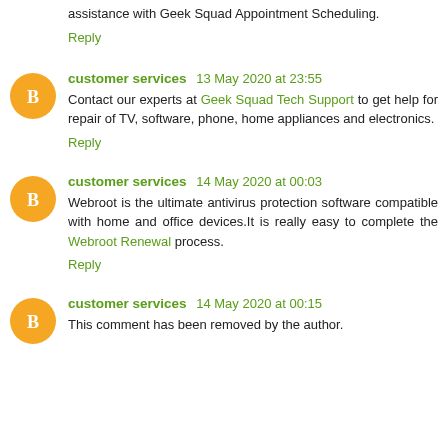assistance with Geek Squad Appointment Scheduling.
Reply
customer services 13 May 2020 at 23:55
Contact our experts at Geek Squad Tech Support to get help for repair of TV, software, phone, home appliances and electronics.
Reply
customer services 14 May 2020 at 00:03
Webroot is the ultimate antivirus protection software compatible with home and office devices.It is really easy to complete the Webroot Renewal process.
Reply
customer services 14 May 2020 at 00:15
This comment has been removed by the author.